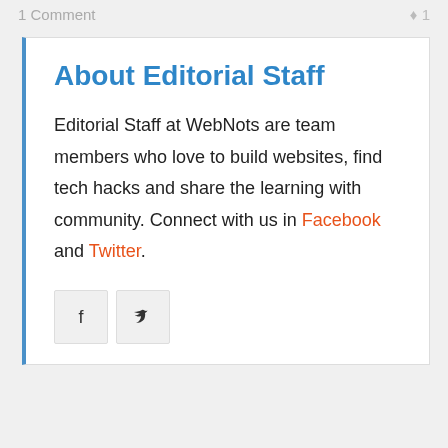1 Comment    ♥ 1
About Editorial Staff
Editorial Staff at WebNots are team members who love to build websites, find tech hacks and share the learning with community. Connect with us in Facebook and Twitter.
[Figure (other): Social media icon buttons: Facebook (f) and Twitter (bird icon)]